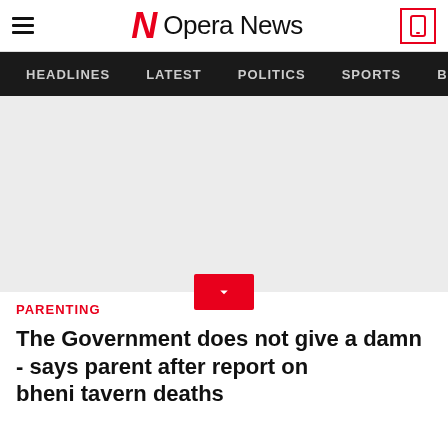Opera News
HEADLINES  LATEST  POLITICS  SPORTS  B
[Figure (other): Gray placeholder rectangle for article image]
PARENTING
The Government does not give a damn - says parent after report on bheni tavern deaths